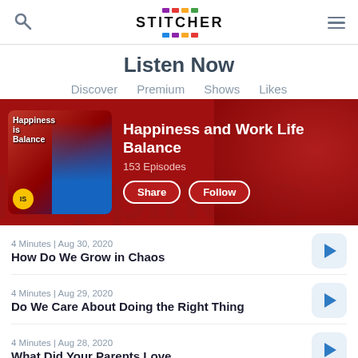Stitcher
Listen Now
Discover
Premium
Shows
Likes
[Figure (infographic): Podcast banner for 'Happiness and Work Life Balance' with 153 Episodes, Share and Follow buttons, on a dark red background.]
4 Minutes | Aug 30, 2020
How Do We Grow in Chaos
4 Minutes | Aug 29, 2020
Do We Care About Doing the Right Thing
4 Minutes | Aug 28, 2020
What Did Your Parents Love
4 Minutes | Aug 27, 2020